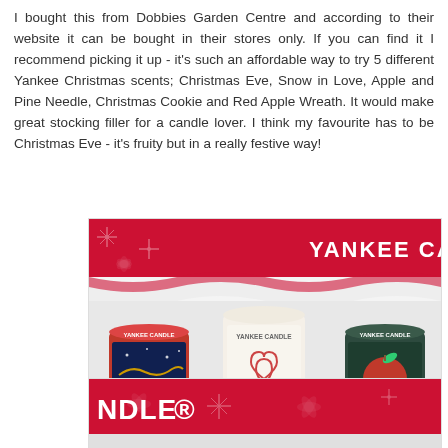I bought this from Dobbies Garden Centre and according to their website it can be bought in their stores only. If you can find it I recommend picking it up - it's such an affordable way to try 5 different Yankee Christmas scents; Christmas Eve, Snow in Love, Apple and Pine Needle, Christmas Cookie and Red Apple Wreath. It would make great stocking filler for a candle lover. I think my favourite has to be Christmas Eve - it's fruity but in a really festive way!
[Figure (photo): A Yankee Candle Christmas gift set box showing three votive candles: Christmas Eve (red/festive design), Snow in Love (white with heart design), and Apple & Pine Needle (dark green with apple design), all in a red decorative holiday box with snowflake pattern.]
[Figure (photo): Bottom portion of Yankee Candle Christmas gift box showing the red decorative bottom panel with NDLE CANDLE text and snowflake/poinsettia pattern visible.]